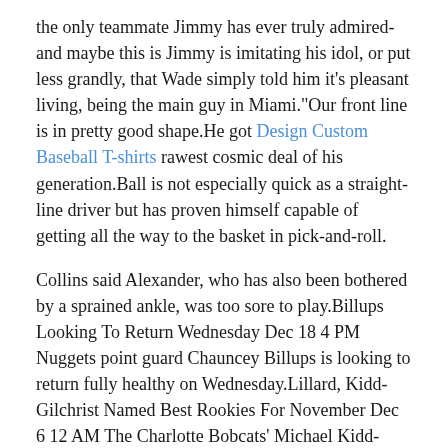the only teammate Jimmy has ever truly admired-and maybe this is Jimmy is imitating his idol, or put less grandly, that Wade simply told him it's pleasant living, being the main guy in Miami."Our front line is in pretty good shape.He got Design Custom Baseball T-shirts rawest cosmic deal of his generation.Ball is not especially quick as a straight-line driver but has proven himself capable of getting all the way to the basket in pick-and-roll.
Collins said Alexander, who has also been bothered by a sprained ankle, was too sore to play.Billups Looking To Return Wednesday Dec 18 4 PM Nuggets point guard Chauncey Billups is looking to return fully healthy on Wednesday.Lillard, Kidd-Gilchrist Named Best Rookies For November Dec 6 12 AM The Charlotte Bobcats' Michael Kidd-Gilchrist and the Portland Trail Blazers' Damian Lillard have been named the NBA Eastern and Western Conference Rookies of the Month, respectively, for games played in October November.I have great belief in